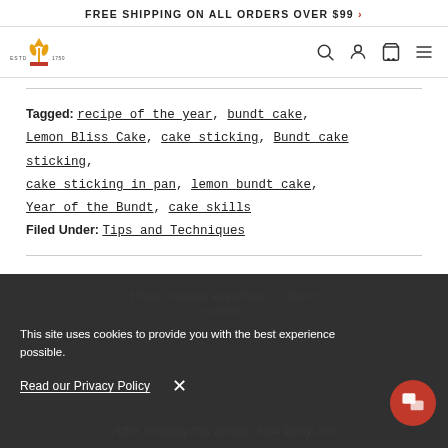FREE SHIPPING ON ALL ORDERS OVER $99 >
[Figure (logo): Brand logo with crown/wheat design, ESTD 1790]
Tagged: recipe of the year, bundt cake, Lemon Bliss Cake, cake sticking, Bundt cake sticking, cake sticking in pan, lemon bundt cake, Year of the Bundt, cake skills
Filed Under: Tips and Techniques
This site uses cookies to provide you with the best experience possible.
Read our Privacy Policy  X